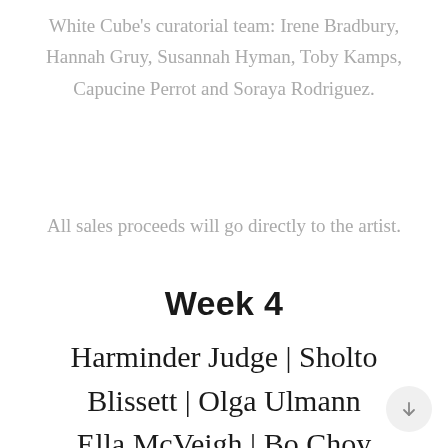White Cube's curatorial team: Irene Bradbury, Hannah Gruy, Susannah Hyman, Toby Kamps, Capucine Perrot and Soraya Rodriguez.
All sales proceeds will go directly to the artist.
Week 4
Harminder Judge | Sholto Blissett | Olga Ulmann Ella McVeigh | Bo Choy